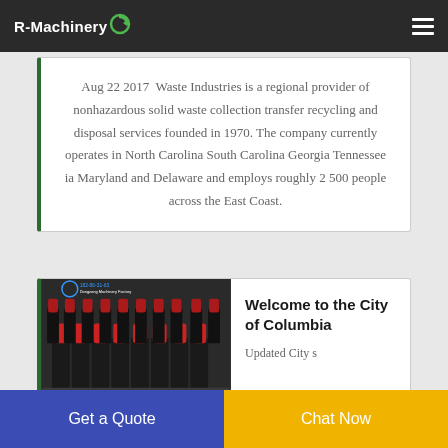R-Machinery
Aug 22 2017  Waste Industries is a regional provider of nonhazardous solid waste collection transfer recycling and disposal services founded in 1970. The company currently operates in North Carolina South Carolina Georgia Tennessee ia Maryland and Delaware and employs roughly 2 500 people across the East Coast.
[Figure (photo): Factory floor with rows of red and black machinery/chairs]
Welcome to the City of Columbia
Updated City s
Get a Quote
Chat Now